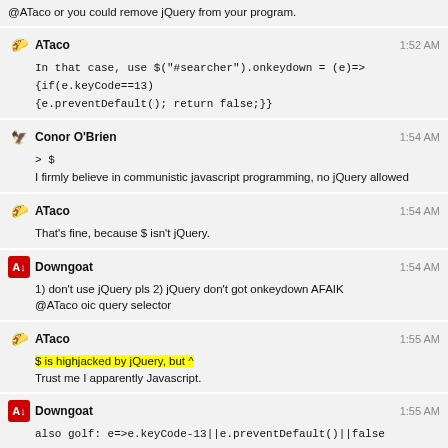@ATaco or you could remove jQuery from your program.
ATaco 1:52 AM
In that case, use $("#searcher").onkeydown = (e)=>{if(e.keyCode==13){e.preventDefault(); return false;}}
Conor O'Brien 1:54 AM
> $
I firmly believe in communistic javascript programming, no jQuery allowed
ATaco 1:54 AM
That's fine, because $ isn't jQuery.
Downgoat 1:54 AM
1) don't use jQuery pls 2) jQuery don't got onkeydown AFAIK
@ATaco oic query selector
ATaco 1:55 AM
$ is highjacked by jQuery, but ^
Trust me I apparently Javascript.
Downgoat 1:55 AM
also golf: e=>e.keyCode-13||e.preventDefault()||false
ATaco 1:57 AM
(I wasn't trying to golf that's just the only way I know how to JS, it's just bad habits)